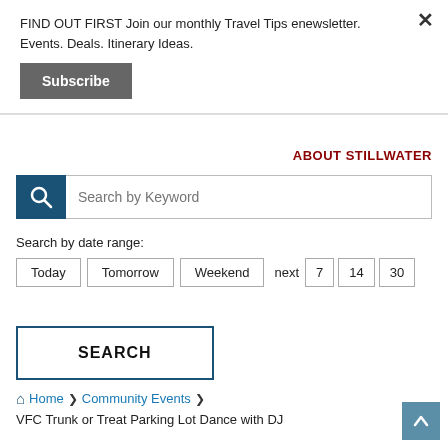FIND OUT FIRST Join our monthly Travel Tips enewsletter. Events. Deals. Itinerary Ideas.
Subscribe
ABOUT STILLWATER
Search by Keyword
Search by date range:
Today  Tomorrow  Weekend  next  7  14  30
SEARCH
Home > Community Events >
VFC Trunk or Treat Parking Lot Dance with DJ